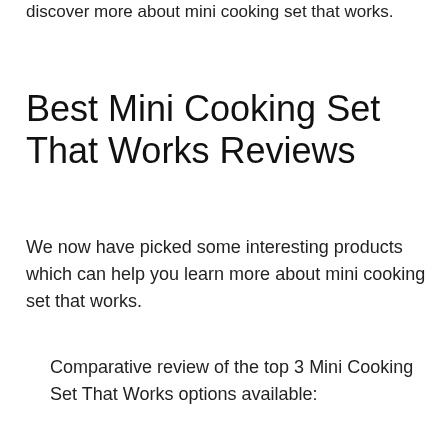discover more about mini cooking set that works.
Best Mini Cooking Set That Works Reviews
We now have picked some interesting products which can help you learn more about mini cooking set that works.
Comparative review of the top 3 Mini Cooking Set That Works options available: